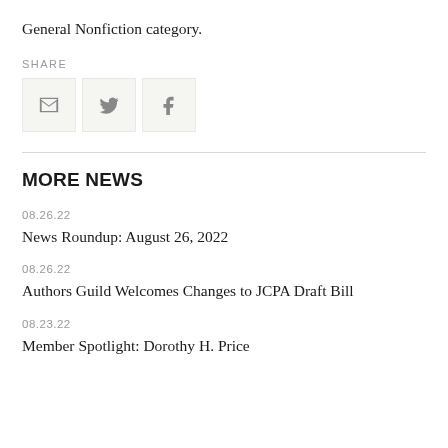General Nonfiction category.
SHARE
[Figure (other): Share icons: email, Twitter, Facebook]
MORE NEWS
08.26.22
News Roundup: August 26, 2022
08.26.22
Authors Guild Welcomes Changes to JCPA Draft Bill
08.23.22
Member Spotlight: Dorothy H. Price